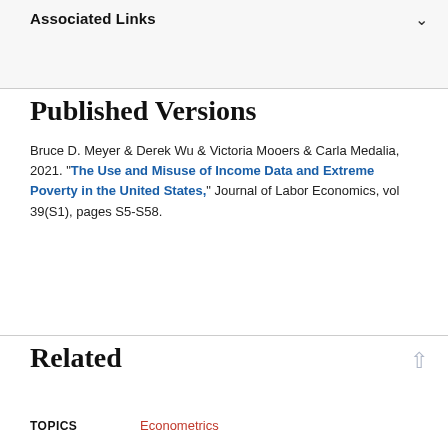Associated Links
Published Versions
Bruce D. Meyer & Derek Wu & Victoria Mooers & Carla Medalia, 2021. "The Use and Misuse of Income Data and Extreme Poverty in the United States," Journal of Labor Economics, vol 39(S1), pages S5-S58.
Related
TOPICS   Econometrics